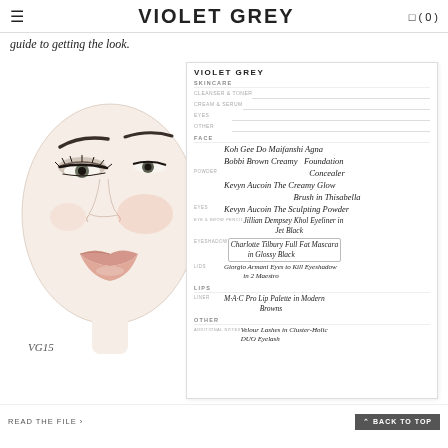≡  VIOLET GREY  (0)
guide to getting the look.
[Figure (illustration): Fashion illustration of a woman's face showing eye with dramatic makeup, blush, and nude lips. Signed VG15 in bottom left corner.]
| Section | Label | Product |
| --- | --- | --- |
| SKINCARE | CLEANSER & TONER |  |
| SKINCARE | CREAM & SERUM |  |
| SKINCARE | EYES |  |
| SKINCARE | OTHER |  |
| FACE |  | Koh Gee Do Maifanshi Agna |
| FACE |  | Bobbi Brown Creamy Foundation |
| FACE | POWDER | Concealer |
| FACE |  | Kevyn Aucoin The Creamy Glow |
| FACE |  | Brush in Thisbella |
| FACE | EYES | Kevyn Aucoin The Sculpting Powder |
| FACE | EYE & BROW PENCIL | Jillian Dempsey Khol Eyeliner in Jet Black |
| FACE | EYESHADOW | Charlotte Tilbury Full Fat Mascara in Glossy Black |
| FACE | LIDS | Giorgio Armani Eyes to Kill Eyeshadow in 2 Maestro |
| LIPS | LINER | M·A·C Pro Lip Palette in Modern Browns |
| OTHER | ADDITIONAL NOTES | Velour Lashes in Cluster-Holic DUO Eyelash |
READ THE FILE >
^ BACK TO TOP